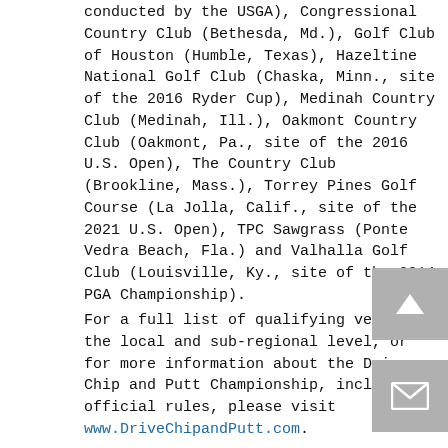conducted by the USGA), Congressional Country Club (Bethesda, Md.), Golf Club of Houston (Humble, Texas), Hazeltine National Golf Club (Chaska, Minn., site of the 2016 Ryder Cup), Medinah Country Club (Medinah, Ill.), Oakmont Country Club (Oakmont, Pa., site of the 2016 U.S. Open), The Country Club (Brookline, Mass.), Torrey Pines Golf Course (La Jolla, Calif., site of the 2021 U.S. Open), TPC Sawgrass (Ponte Vedra Beach, Fla.) and Valhalla Golf Club (Louisville, Ky., site of the 2014 PGA Championship).
For a full list of qualifying venues at the local and sub-regional level, or for more information about the Drive, Chip and Putt Championship, including official rules, please visit www.DriveChipandPutt.com.